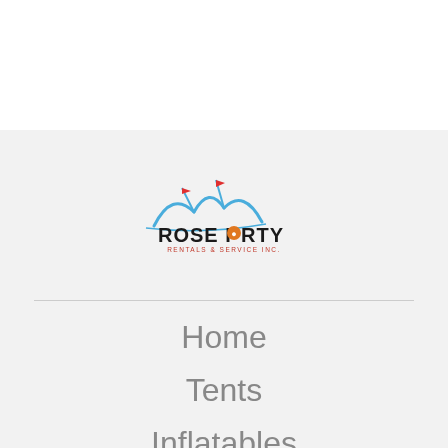[Figure (logo): Rose Party Rentals & Service Inc. logo with blue tent peaks and red flags, text reads ROSE PARTY RENTALS & SERVICE INC.]
Home
Tents
Inflatables
Tables and Chairs